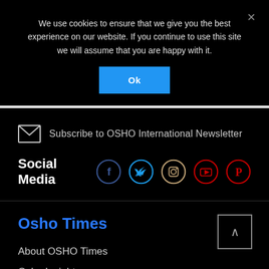We use cookies to ensure that we give you the best experience on our website. If you continue to use this site we will assume that you are happy with it.
Ok
Subscribe to OSHO International Newsletter
Social Media
Osho Times
About OSHO Times
Osho Insights
Meditation 101